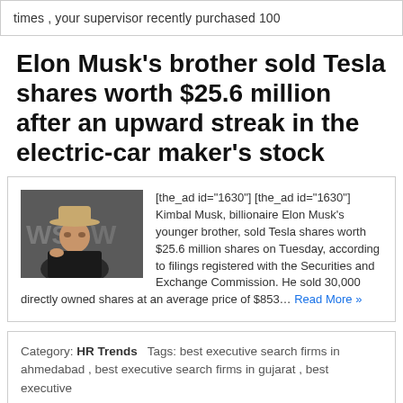times , your supervisor recently purchased 100
Elon Musk's brother sold Tesla shares worth $25.6 million after an upward streak in the electric-car maker's stock
[Figure (photo): Photo of Kimbal Musk wearing a cowboy hat, speaking at a WSJ event]
[the_ad id="1630"] [the_ad id="1630"] Kimbal Musk, billionaire Elon Musk's younger brother, sold Tesla shares worth $25.6 million shares on Tuesday, according to filings registered with the Securities and Exchange Commission.  He sold 30,000 directly owned shares at an average price of $853… Read More »
Category: HR Trends   Tags: best executive search firms in ahmedabad , best executive search firms in gujarat , best executive